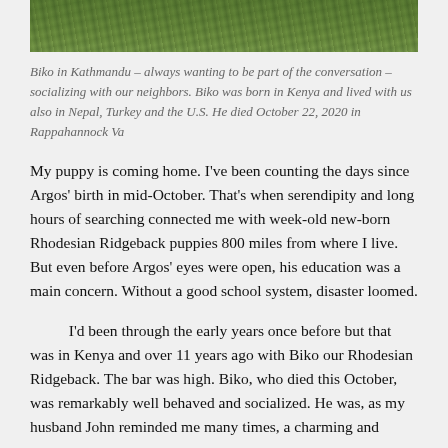[Figure (photo): Cropped top portion of a photo showing green grass/garden, appears to be outdoor scene in Kathmandu]
Biko in Kathmandu – always wanting to be part of the conversation – socializing with our neighbors. Biko was born in Kenya and lived with us also in Nepal, Turkey and the U.S. He died October 22, 2020 in Rappahannock Va
My puppy is coming home. I've been counting the days since Argos' birth in mid-October. That's when serendipity and long hours of searching connected me with week-old new-born Rhodesian Ridgeback puppies 800 miles from where I live. But even before Argos' eyes were open, his education was a main concern. Without a good school system, disaster loomed.
I'd been through the early years once before but that was in Kenya and over 11 years ago with Biko our Rhodesian Ridgeback. The bar was high. Biko, who died this October, was remarkably well behaved and socialized. He was, as my husband John reminded me many times, a charming and